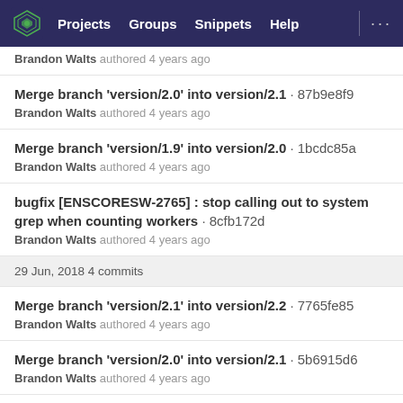Projects  Groups  Snippets  Help
Brandon Walts authored 4 years ago
Merge branch 'version/2.0' into version/2.1 · 87b9e8f9
Brandon Walts authored 4 years ago
Merge branch 'version/1.9' into version/2.0 · 1bcdc85a
Brandon Walts authored 4 years ago
bugfix [ENSCORESW-2765] : stop calling out to system grep when counting workers · 8cfb172d
Brandon Walts authored 4 years ago
29 Jun, 2018 4 commits
Merge branch 'version/2.1' into version/2.2 · 7765fe85
Brandon Walts authored 4 years ago
Merge branch 'version/2.0' into version/2.1 · 5b6915d6
Brandon Walts authored 4 years ago